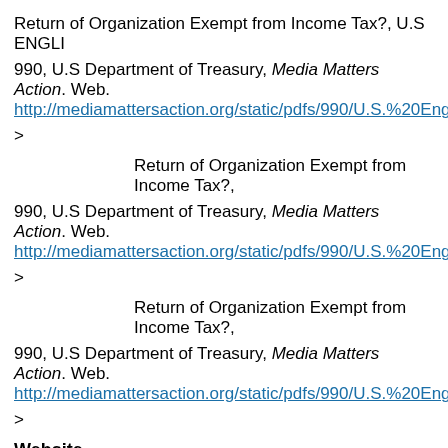Return of Organization Exempt from Income Tax?, U.S ENGLI
990, U.S Department of Treasury, Media Matters Action. Web. http://mediamattersaction.org/static/pdfs/990/U.S.%20English9
>
Return of Organization Exempt from Income Tax?,
990, U.S Department of Treasury, Media Matters Action. Web. http://mediamattersaction.org/static/pdfs/990/U.S.%20English9
>
Return of Organization Exempt from Income Tax?,
990, U.S Department of Treasury, Media Matters Action. Web. http://mediamattersaction.org/static/pdfs/990/U.S.%20English9
>
Website
U.S ENGLISH. Official website. Web. 4 Dec 2009. < http://www
SECONDARY SOURCES